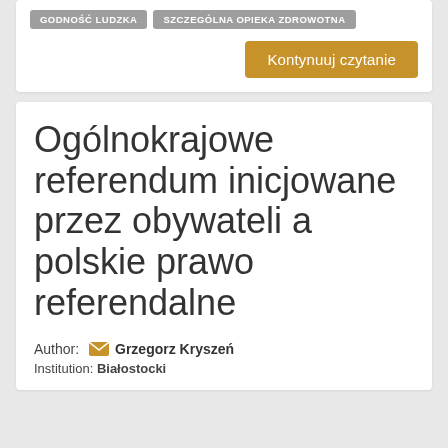GODNOŚĆ LUDZKA
SZCZEGÓLNA OPIEKA ZDROWOTNA
Kontynuuj czytanie
Ogólnokrajowe referendum inicjowane przez obywateli a polskie prawo referendalne
Author: Grzegorz Kryszeń
Institution: